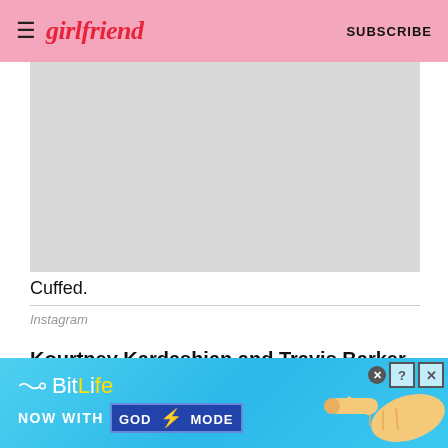girlfriend  SUBSCRIBE
[Figure (photo): Gray placeholder image block for a photo]
Cuffed.
Instagram
Kourtney Kardashian and Travis Barker
Newly engaged Kourtney Kardashian and Travis Barker are clearly enjoying spending every moment together as they chose to be cuffed up for this Halloween. Channelling
[Figure (screenshot): BitLife advertisement banner with 'NOW WITH GOD MODE' text and hand pointing graphic on blue background]